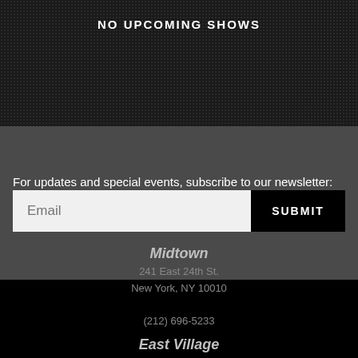NO UPCOMING SHOWS
For updates and special events, subscribe to our newsletter:
Email  SUBMIT
Midtown
241 East 24th St.
New York, NY 10010
(212) 696-5233
East Village